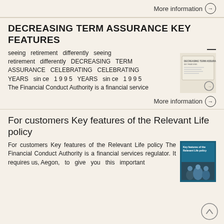More information →
DECREASING TERM ASSURANCE KEY FEATURES
seeing retirement differently seeing retirement differently DECREASING TERM ASSURANCE CELEBRATING CELEBRATING YEARS sin ce 1 9 9 5 YEARS sin ce 1 9 9 5 The Financial Conduct Authority is a financial service
More information →
For customers Key features of the Relevant Life policy
For customers Key features of the Relevant Life policy The Financial Conduct Authority is a financial services regulator. It requires us, Aegon, to give you this important